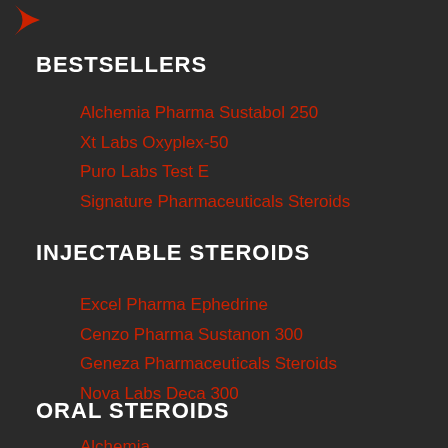[Figure (logo): Red logo mark in top left corner]
BESTSELLERS
Alchemia Pharma Sustabol 250
Xt Labs Oxyplex-50
Puro Labs Test E
Signature Pharmaceuticals Steroids
INJECTABLE STEROIDS
Excel Pharma Ephedrine
Cenzo Pharma Sustanon 300
Geneza Pharmaceuticals Steroids
Nova Labs Deca 300
ORAL STEROIDS
Alchemia...